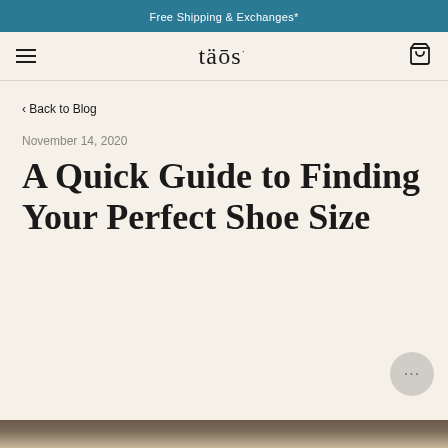Free Shipping & Exchanges*
täōs
< Back to Blog
November 14, 2020
A Quick Guide to Finding Your Perfect Shoe Size